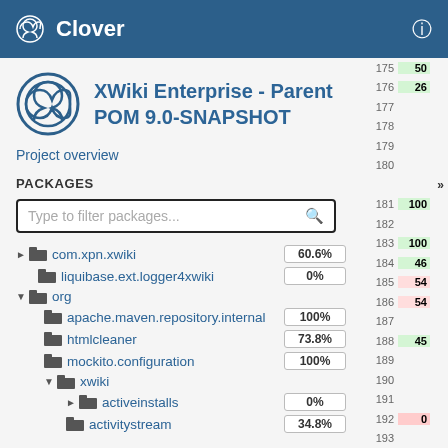Clover
XWiki Enterprise - Parent POM 9.0-SNAPSHOT
Project overview
PACKAGES
| Package | Coverage |
| --- | --- |
| com.xpn.xwiki | 60.6% |
| liquibase.ext.logger4xwiki | 0% |
| org |  |
| apache.maven.repository.internal | 100% |
| htmlcleaner | 73.8% |
| mockito.configuration | 100% |
| xwiki |  |
| activeinstalls | 0% |
| activitystream | 34.8% |